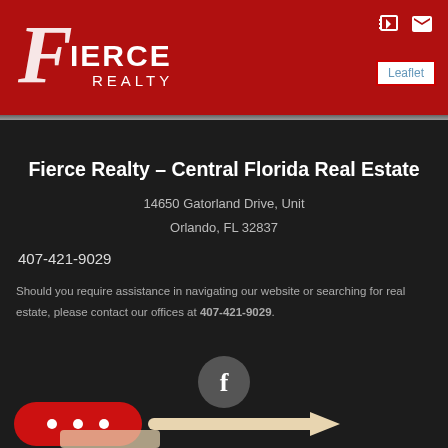[Figure (logo): Fierce Realty logo — stylized F with IERCE REALTY text in white on red background]
Leaflet
Fierce Realty – Central Florida Real Estate
14650 Gatorland Drive, Unit
Orlando, FL 32837
407-421-9029
Should you require assistance in navigating our website or searching for real estate, please contact our offices at 407-421-9029.
[Figure (illustration): Facebook circle icon (f) and red chat pill button with speech bubble dots, and a hand/arrow graphic below]